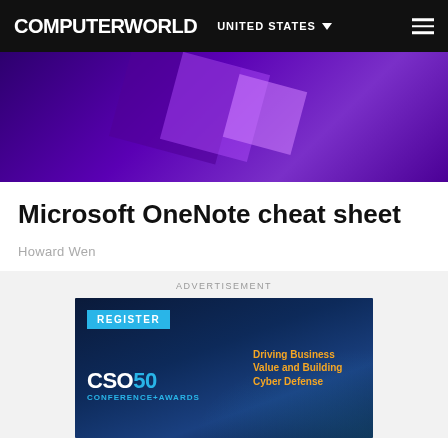COMPUTERWORLD | UNITED STATES
[Figure (illustration): Purple abstract hero banner with geometric shapes suggesting Microsoft OneNote branding]
Microsoft OneNote cheat sheet
Howard Wen
ADVERTISEMENT
[Figure (illustration): CSO50 Conference + Awards advertisement banner with Register button and tagline: Driving Business Value and Building Cyber Defense]